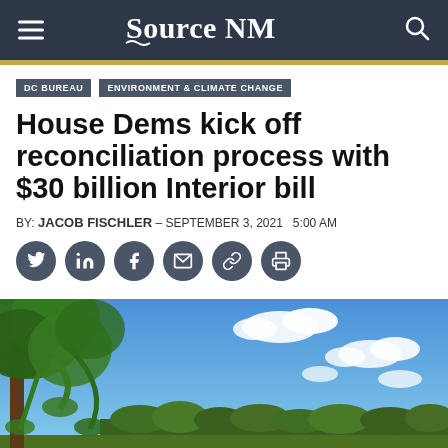Source NM
DC BUREAU   ENVIRONMENT & CLIMATE CHANGE
House Dems kick off reconciliation process with $30 billion Interior bill
BY: JACOB FISCHLER - SEPTEMBER 3, 2021  5:00 AM
[Figure (photo): Outdoor landscape photo showing green trees on the left with a blue sky and white clouds, with a tree line visible in the distance.]